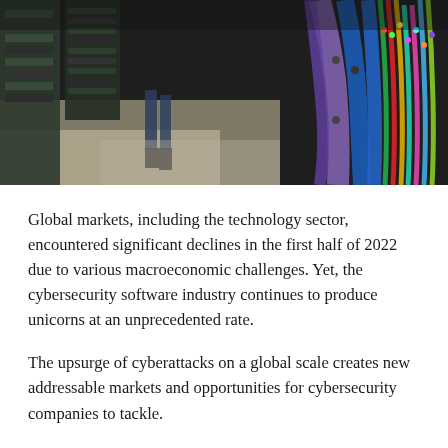[Figure (photo): A data center or server room showing colorful cables (purple, blue, green, red, yellow) bundled together on the right side, and server racks in the background with a person's legs visible walking in the aisle.]
Global markets, including the technology sector, encountered significant declines in the first half of 2022 due to various macroeconomic challenges. Yet, the cybersecurity software industry continues to produce unicorns at an unprecedented rate.
The upsurge of cyberattacks on a global scale creates new addressable markets and opportunities for cybersecurity companies to tackle.
Atlas VPN predicts that if the upward trend’s growth